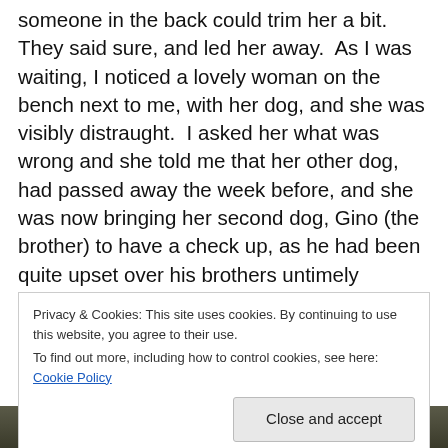someone in the back could trim her a bit. They said sure, and led her away.  As I was waiting, I noticed a lovely woman on the bench next to me, with her dog, and she was visibly distraught.  I asked her what was wrong and she told me that her other dog, had passed away the week before, and she was now bringing her second dog, Gino (the brother) to have a check up, as he had been quite upset over his brothers untimely passing.  She went on to tell me that she was out of the country when her dog passed away, but her boyfriend had been able to hold the phone up to her doggie, and she was able to say goodbye.
Privacy & Cookies: This site uses cookies. By continuing to use this website, you agree to their use.
To find out more, including how to control cookies, see here: Cookie Policy
Close and accept
[Figure (photo): Dark photo strip at the bottom of the page, partially visible]